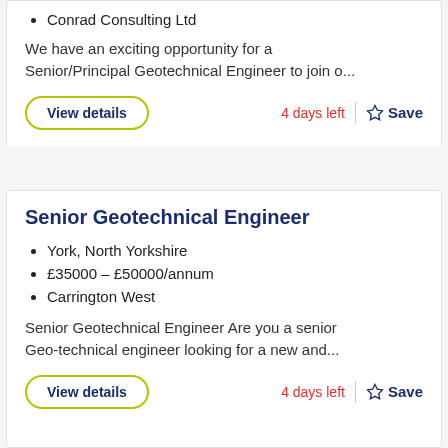Conrad Consulting Ltd
We have an exciting opportunity for a Senior/Principal Geotechnical Engineer to join o...
View details
4 days left
Save
Senior Geotechnical Engineer
York, North Yorkshire
£35000 - £50000/annum
Carrington West
Senior Geotechnical Engineer Are you a senior Geo-technical engineer looking for a new and...
View details
4 days left
Save